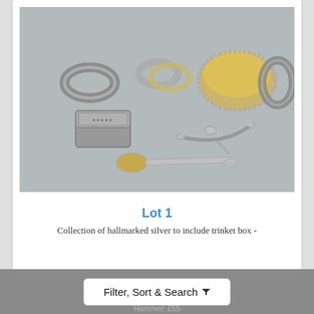[Figure (photo): Collection of hallmarked silver items on grey background including two napkin rings, a pair of plain rings, a decorative trinket box, a silver bowl/coaster with beaded rim, a decorated napkin ring, a small spoon, a pair of sugar tongs, and a long teaspoon.]
Lot 1
Collection of hallmarked silver to include trinket box -
Filter, Sort & Search
Hammer: £55